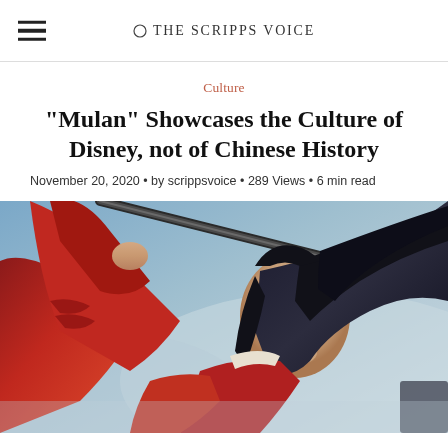The Scripps Voice
Culture
“Mulan” Showcases the Culture of Disney, not of Chinese History
November 20, 2020 • by scrippsvoice • 289 Views • 6 min read
[Figure (photo): Movie poster-style photo of Mulan (actress Liu Yifei) in red warrior costume, holding a sword raised above her head, hair flowing in the wind, against a dramatic sky background.]